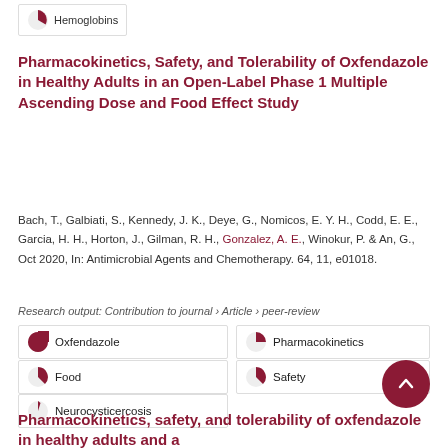Hemoglobins
Pharmacokinetics, Safety, and Tolerability of Oxfendazole in Healthy Adults in an Open-Label Phase 1 Multiple Ascending Dose and Food Effect Study
Bach, T., Galbiati, S., Kennedy, J. K., Deye, G., Nomicos, E. Y. H., Codd, E. E., Garcia, H. H., Horton, J., Gilman, R. H., Gonzalez, A. E., Winokur, P. & An, G., Oct 2020, In: Antimicrobial Agents and Chemotherapy. 64, 11, e01018.
Research output: Contribution to journal › Article › peer-review
Oxfendazole
Pharmacokinetics
Food
Safety
Neurocysticercosis
Pharmacokinetics, safety, and tolerability of oxfendazole in healthy adults and a